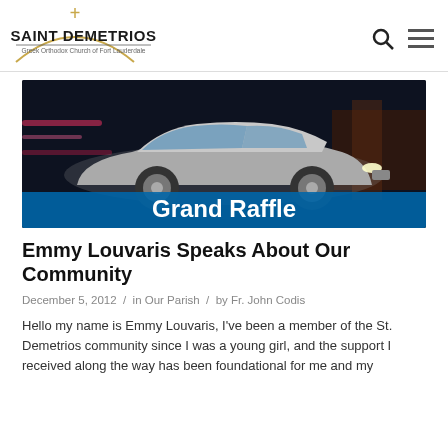Saint Demetrios Greek Orthodox Church of Fort Lauderdale
[Figure (photo): Silver Mercedes-Benz sedan speeding with city lights in background, overlaid with bold white text 'Grand Raffle' on a blue-teal banner at the bottom.]
Emmy Louvaris Speaks About Our Community
December 5, 2012 / in Our Parish / by Fr. John Codis
Hello my name is Emmy Louvaris, I've been a member of the St. Demetrios community since I was a young girl, and the support I received along the way has been foundational for me and my